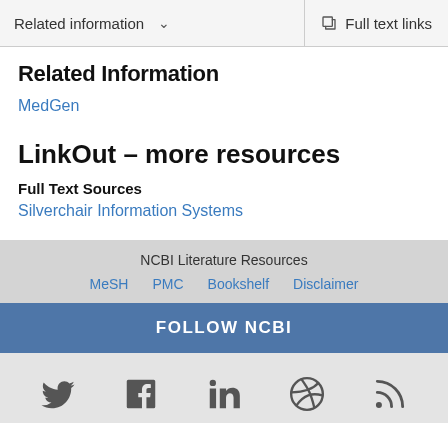Related information  ∨    Full text links
Related Information
MedGen
LinkOut – more resources
Full Text Sources
Silverchair Information Systems
NCBI Literature Resources  MeSH  PMC  Bookshelf  Disclaimer
FOLLOW NCBI
[Figure (other): Social media icons: Twitter, Facebook, LinkedIn, GitHub, RSS feed]